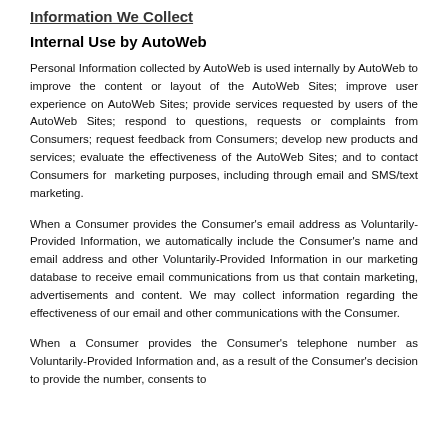Information We Collect
Internal Use by AutoWeb
Personal Information collected by AutoWeb is used internally by AutoWeb to improve the content or layout of the AutoWeb Sites; improve user experience on AutoWeb Sites; provide services requested by users of the AutoWeb Sites; respond to questions, requests or complaints from Consumers; request feedback from Consumers; develop new products and services; evaluate the effectiveness of the AutoWeb Sites; and to contact Consumers for marketing purposes, including through email and SMS/text marketing.
When a Consumer provides the Consumer's email address as Voluntarily-Provided Information, we automatically include the Consumer's name and email address and other Voluntarily-Provided Information in our marketing database to receive email communications from us that contain marketing, advertisements and content. We may collect information regarding the effectiveness of our email and other communications with the Consumer.
When a Consumer provides the Consumer's telephone number as Voluntarily-Provided Information and, as a result of the Consumer's decision to provide the number, consents to